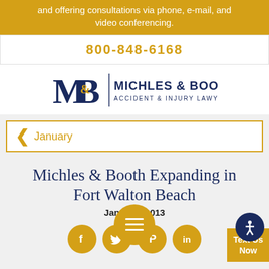and offering consultations via phone, e-mail, and video conferencing.
800-848-6168
[Figure (logo): Michles & Booth Accident & Injury Lawyers logo with M&B monogram]
January
Michles & Booth Expanding in Fort Walton Beach
January 2013
[Figure (infographic): Social media share buttons (Facebook, Twitter, Pinterest, LinkedIn) as gold circles, a menu bubble, accessibility button, and Text Us Now button]